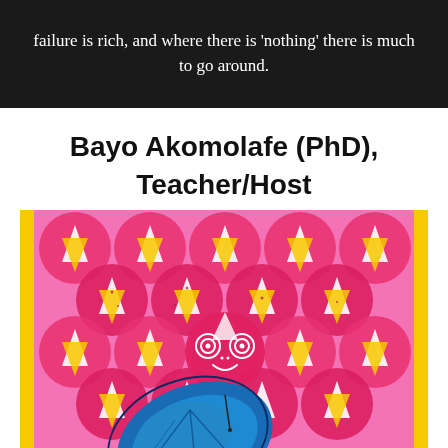failure is rich, and where there is 'nothing' there is much to go around.
Bayo Akomolafe (PhD), Teacher/Host
[Figure (illustration): Colorful folk-art style illustration with pink and red circular patterns filled with white and yellow triangles on a yellow background, featuring a stylized face with concentric circle eyes in the center, and a blue butterfly wing at the bottom.]